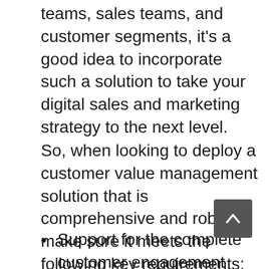teams, sales teams, and customer segments, it's a good idea to incorporate such a solution to take your digital sales and marketing strategy to the next level.
So, when looking to deploy a customer value management solution that is comprehensive and robust, make sure it meets the following key requirements:
Support for the complete customer engagement cycle, including value discovery, value delivery, and value realization: